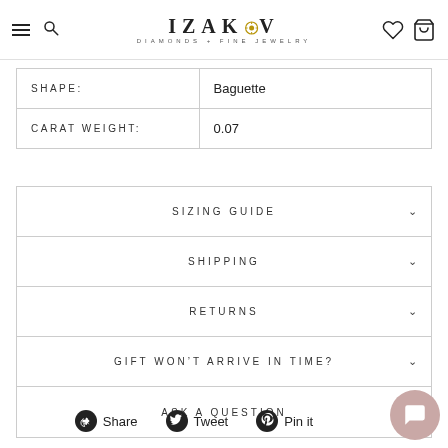[Figure (logo): IZAKOV DIAMONDS + FINE JEWELRY logo with hamburger menu, search, heart and bag icons]
| SHAPE: | Baguette |
| CARAT WEIGHT: | 0.07 |
SIZING GUIDE
SHIPPING
RETURNS
GIFT WON'T ARRIVE IN TIME?
ASK A QUESTION
Share   Tweet   Pin it